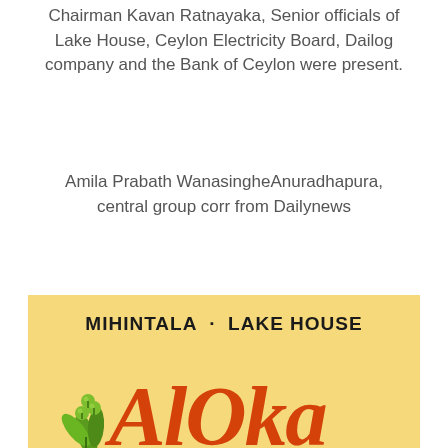Chairman Kavan Ratnayaka, Senior officials of Lake House, Ceylon Electricity Board, Dailog company and the Bank of Ceylon were present.
Amila Prabath WanasingheAnuradhapura, central group corr from Dailynews
[Figure (logo): Advertisement banner with yellow/cream background. Text reads 'MIHINTALA · LAKE HOUSE' in bold black uppercase, below which is a large stylized orange/red logo text 'ALOKA' with decorative serif font, with green leaf/berry cluster on the left side. Partial text visible at bottom.]